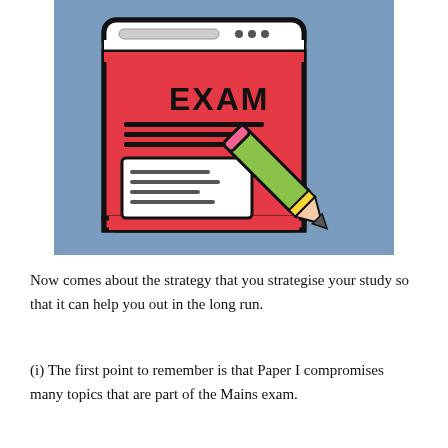[Figure (illustration): Illustration of an exam paper/document with the word EXAM written on it in bold, with horizontal lines below, and a green pencil writing on it. The background is steel blue.]
Now comes about the strategy that you strategise your study so that it can help you out in the long run.
(i) The first point to remember is that Paper I compromises many topics that are part of the Mains exam.